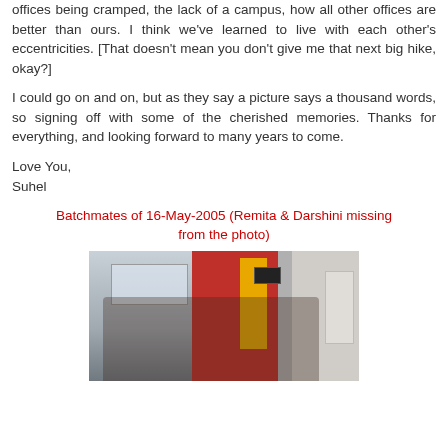offices being cramped, the lack of a campus, how all other offices are better than ours. I think we've learned to live with each other's eccentricities. [That doesn't mean you don't give me that next big hike, okay?]
I could go on and on, but as they say a picture says a thousand words, so signing off with some of the cherished memories. Thanks for everything, and looking forward to many years to come.
Love You,
Suhel
Batchmates of 16-May-2005 (Remita & Darshini missing from the photo)
[Figure (photo): Group photo of batchmates seated and standing in a room with red and white walls and a yellow door. Several women are visible, some seated on red chairs, one wearing a black hijab. Background shows a window with a cityscape view and some containers on the right side.]